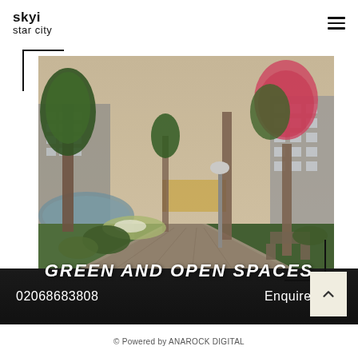skyi star city
[Figure (photo): Rendered architectural visualization of a green open space walkway with trees, flowering plants, paved path, grass lawn, and residential apartment buildings in the background]
GREEN AND OPEN SPACES
02068683808
Enquire Now
© Powered by ANAROCK DIGITAL